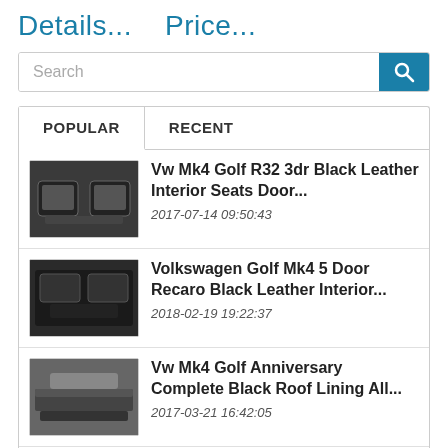Details...    Price...
[Figure (screenshot): Search bar with magnifying glass icon button]
POPULAR    RECENT
Vw Mk4 Golf R32 3dr Black Leather Interior Seats Door... 2017-07-14 09:50:43
Volkswagen Golf Mk4 5 Door Recaro Black Leather Interior... 2018-02-19 19:22:37
Vw Mk4 Golf Anniversary Complete Black Roof Lining All... 2017-03-21 16:42:05
Vw Mk4 Gli Brushed Aluminum Trim Kit